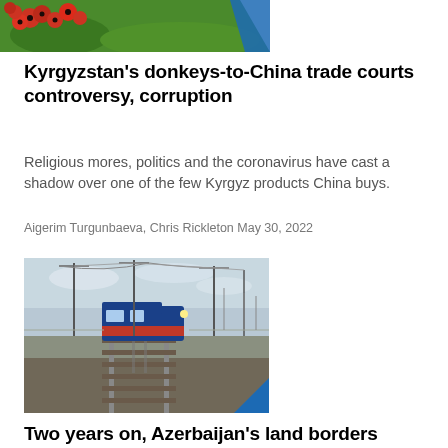[Figure (photo): Top portion of a photo showing red poppy flowers in a field with a blue diagonal corner accent]
Kyrgyzstan’s donkeys-to-China trade courts controversy, corruption
Religious mores, politics and the coronavirus have cast a shadow over one of the few Kyrgyz products China buys.
Aigerim Turgunbaeva, Chris Rickleton May 30, 2022
[Figure (photo): Photo of a blue and red locomotive train on railway tracks in a flat landscape with overhead electric wires, blue corner accent at bottom right]
Two years on, Azerbaijan’s land borders remain closed